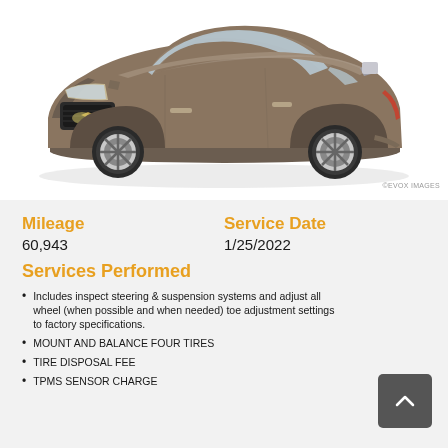[Figure (photo): A brown/tan Chevrolet Equinox SUV photographed from a front three-quarter angle on a white background.]
©EVOX IMAGES
Mileage
60,943
Service Date
1/25/2022
Services Performed
Includes inspect steering & suspension systems and adjust all wheel (when possible and when needed) toe adjustment settings to factory specifications.
MOUNT AND BALANCE FOUR TIRES
TIRE DISPOSAL FEE
TPMS SENSOR CHARGE